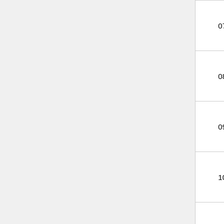| # | Title | Composer | Organization |
| --- | --- | --- | --- |
| 07 | Storbju | Joseph Vella | Soċjeta Filarmoniċa La Stella Band C... |
| 08 | Barigozzi | Raymond Fenech | Soċjeta Filarmoniċa La Stella Band C... |
| 09 | Pascalino | Archibald Mizzi | Soċjeta Filarmoniċa La Stella Band C... |
| 10 | Innu Kbir Martri San Ġorġ | Vincenzo Ciappara | Soċjeta Filarmoniċa La Stella Band C... |
| 11 | Innu Marċ tal-Banda La Stella | Giuseppe Giardini Vella | Soċjeta Filarmoniċa La Stella Band C... |